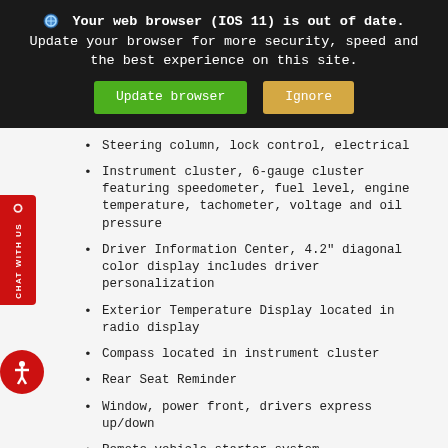[Figure (screenshot): Browser update warning banner with 'Update browser' (green) and 'Ignore' (tan) buttons on dark background]
Steering column, lock control, electrical
Instrument cluster, 6-gauge cluster featuring speedometer, fuel level, engine temperature, tachometer, voltage and oil pressure
Driver Information Center, 4.2" diagonal color display includes driver personalization
Exterior Temperature Display located in radio display
Compass located in instrument cluster
Rear Seat Reminder
Window, power front, drivers express up/down
Remote vehicle starter system
Cruise control, electronic with set and resume speed, steering wheel-mounted
Theft-deterrent system, unauthorized entry